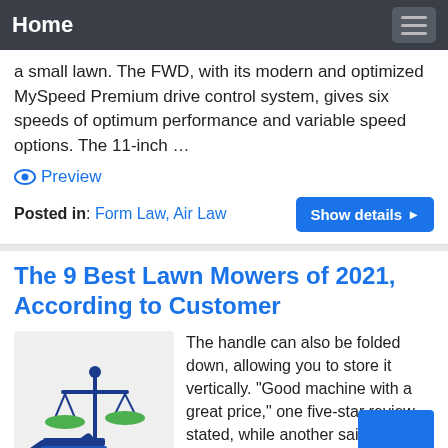Home
a small lawn. The FWD, with its modern and optimized MySpeed Premium drive control system, gives six speeds of optimum performance and variable speed options. The 11-inch …
👁 Preview
Posted in: Form Law, Air Law
The 9 Best Lawn Mowers of 2021, According to Customer
[Figure (illustration): Law scales and gavel illustration with LAW text on green banner]
The handle can also be folded down, allowing you to store it vertically. "Good machine with a great price," one five-star review stated, while another said, "If you are in the